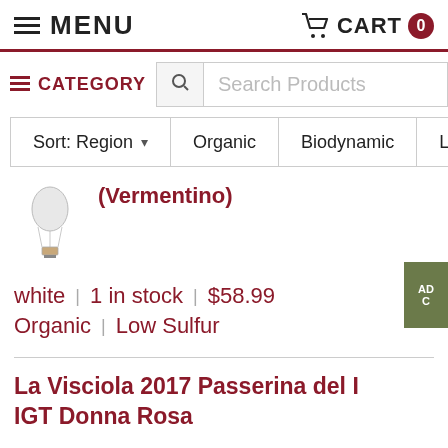MENU   CART 0
CATEGORY   Search Products
Sort: Region ▾   Organic   Biodynamic   L
[Figure (illustration): Hot air balloon with wine bottle illustration]
(Vermentino)
white | 1 in stock | $58.99 Organic | Low Sulfur
La Visciola 2017 Passerina del IGT Donna Rosa